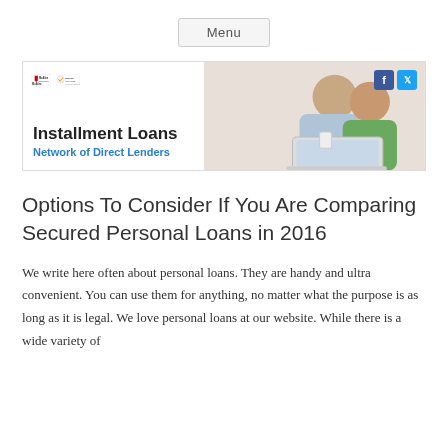Menu
[Figure (illustration): Banner for Installment Loans Network of Direct Lenders with McAfee Secure and Norton Secured badges, a couple using a laptop, and Facebook/Twitter social icons.]
Options To Consider If You Are Comparing Secured Personal Loans in 2016
We write here often about personal loans. They are handy and ultra convenient. You can use them for anything, no matter what the purpose is as long as it is legal. We love personal loans at our website. While there is a wide variety of